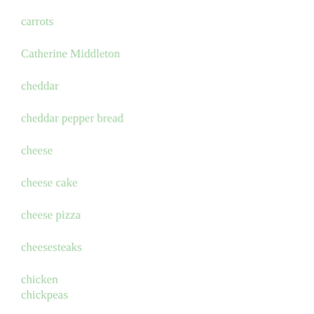carrots
Catherine Middleton
cheddar
cheddar pepper bread
cheese
cheese cake
cheese pizza
cheesesteaks
chicken
chickpeas